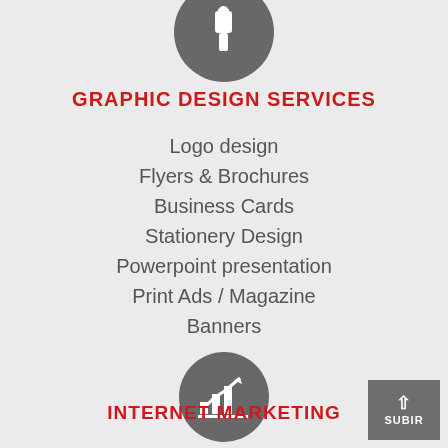[Figure (illustration): Gray circle with white paintbrush icon representing graphic design services]
GRAPHIC DESIGN SERVICES
Logo design
Flyers & Brochures
Business Cards
Stationery Design
Powerpoint presentation
Print Ads / Magazine
Banners
[Figure (illustration): Gray circle with white bar chart and upward arrow icon representing internet marketing]
INTERNET MARKETING
Search engine optimization